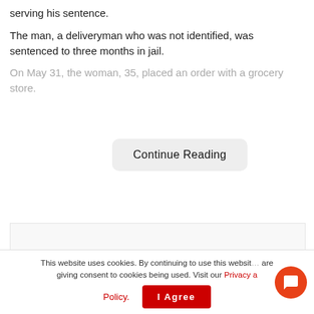serving his sentence.
The man, a deliveryman who was not identified, was sentenced to three months in jail.
On May 31, the woman, 35, placed an order with a grocery store.
[Figure (screenshot): Continue Reading button overlay on faded text]
[Figure (photo): Partial image visible at bottom of article, appears to show food or produce with red and green colors]
This website uses cookies. By continuing to use this website are giving consent to cookies being used. Visit our Privacy a
Policy.
I Agree